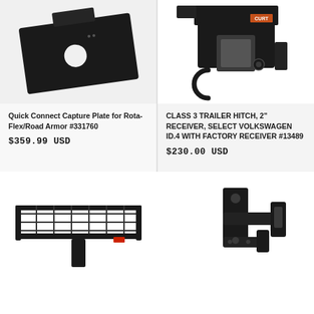[Figure (photo): Quick Connect Capture Plate for Rota-Flex/Road Armor - black metal mounting plate with circular hole]
Quick Connect Capture Plate for Rota-Flex/Road Armor #331760
$359.99 USD
[Figure (photo): Class 3 Trailer Hitch, 2 inch receiver with CURT branding - black metal trailer hitch receiver]
CLASS 3 TRAILER HITCH, 2" RECEIVER, SELECT VOLKSWAGEN ID.4 WITH FACTORY RECEIVER #13489
$230.00 USD
[Figure (photo): Black mesh cargo carrier/basket for trailer hitch]
[Figure (photo): Black trailer hitch bracket/mount hardware]